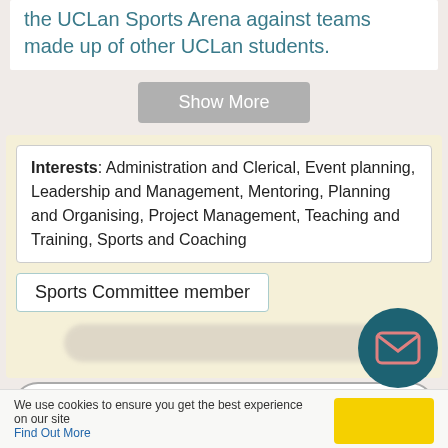the UCLan Sports Arena against teams made up of other UCLan students.
Show More
Interests: Administration and Clerical, Event planning, Leadership and Management, Mentoring, Planning and Organising, Project Management, Teaching and Training, Sports and Coaching
Sports Committee member
You need to be logged in and registered
We use cookies to ensure you get the best experience on our site
Find Out More